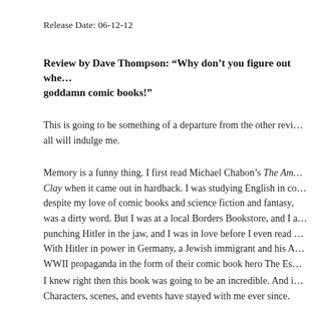Release Date: 06-12-12
Review by Dave Thompson: “Why don’t you figure out whe… goddamn comic books!”
This is going to be something of a departure from the other revi… all will indulge me.
Memory is a funny thing. I first read Michael Chabon’s The Am… Clay when it came out in hardback. I was studying English in co… despite my love of comic books and science fiction and fantasy,… was a dirty word. But I was at a local Borders Bookstore, and I … punching Hitler in the jaw, and I was in love before I even read … With Hitler in power in Germany, a Jewish immigrant and his A… WWII propaganda in the form of their comic book hero The Es…
I knew right then this book was going to be an incredible. And i… Characters, scenes, and events have stayed with me ever since.